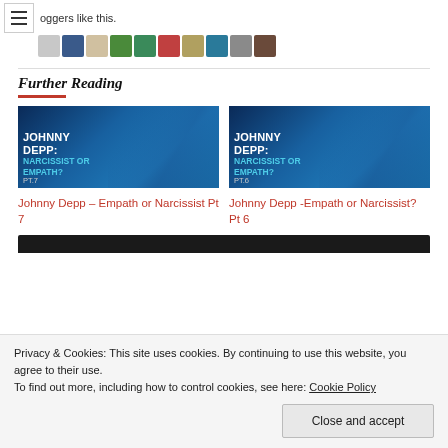bloggers like this.
Further Reading
[Figure (illustration): Blog article thumbnail: Johnny Depp portrait with blue overlay, text 'JOHNNY DEPP: NARCISSIST OR EMPATH? PT.7']
Johnny Depp – Empath or Narcissist Pt 7
[Figure (illustration): Blog article thumbnail: Johnny Depp portrait with blue overlay, text 'JOHNNY DEPP: NARCISSIST OR EMPATH? PT.6']
Johnny Depp -Empath or Narcissist? Pt 6
Privacy & Cookies: This site uses cookies. By continuing to use this website, you agree to their use.
To find out more, including how to control cookies, see here: Cookie Policy
Close and accept